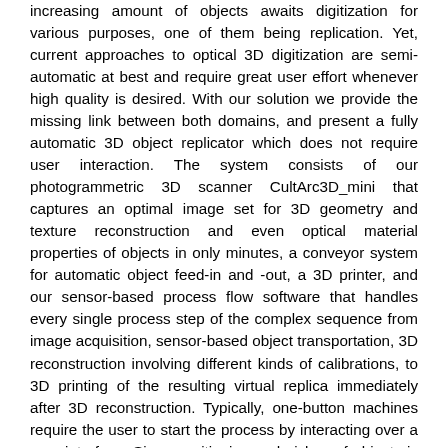increasing amount of objects awaits digitization for various purposes, one of them being replication. Yet, current approaches to optical 3D digitization are semi-automatic at best and require great user effort whenever high quality is desired. With our solution we provide the missing link between both domains, and present a fully automatic 3D object replicator which does not require user interaction. The system consists of our photogrammetric 3D scanner CultArc3D_mini that captures an optimal image set for 3D geometry and texture reconstruction and even optical material properties of objects in only minutes, a conveyor system for automatic object feed-in and -out, a 3D printer, and our sensor-based process flow software that handles every single process step of the complex sequence from image acquisition, sensor-based object transportation, 3D reconstruction involving different kinds of calibrations, to 3D printing of the resulting virtual replica immediately after 3D reconstruction. Typically, one-button machines require the user to start the process by interacting over a user interface. Since positioning and pickup of objects is automatically registered, the only thing left for the user to do is placing an object at the entry and retrieving it from the exit after scanning. Shortly after, the 3D replica can be picked up from the 3D printer. Technically, we created a zero-button 3D replicator that provides high throughput digitization in 3D, requiring only minutes